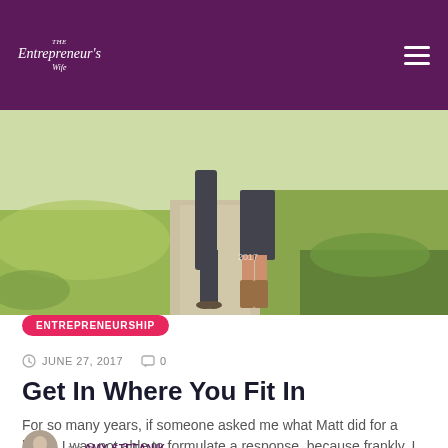The Entrepreneur's Wife
[Figure (photo): Outdoor photo of two people standing on a path, legs visible, surrounded by green grass and shrubs in sunlight]
ENTREPRENEURSHIP
JUNE 27, 2017   0
Get In Where You Fit In
For so many years, if someone asked me what Matt did for a living, I was not able to formulate a response, because frankly, I really didn't know. Such questions
by AMY STEFANIK